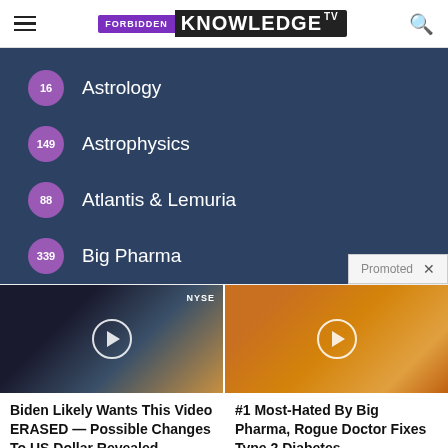FORBIDDEN KNOWLEDGE TV
16 Astrology
149 Astrophysics
88 Atlantis & Lemuria
339 Big Pharma
[Figure (screenshot): Promoted ad section with two video thumbnails]
Biden Likely Wants This Video ERASED — Possible Changes To US Dollar Revealed
#1 Most-Hated By Big Pharma, Rogue Doctor Fixes Type 2 Diabetes